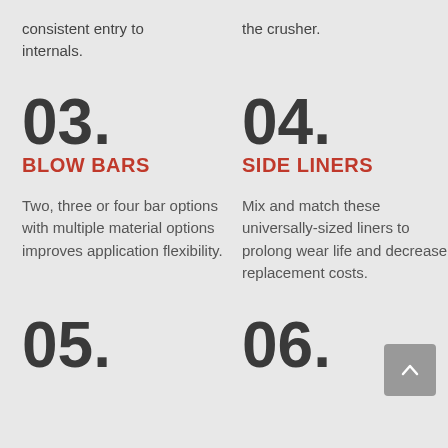consistent entry to internals.
the crusher.
03. BLOW BARS
04. SIDE LINERS
Two, three or four bar options with multiple material options improves application flexibility.
Mix and match these universally-sized liners to prolong wear life and decrease replacement costs.
05.
06.